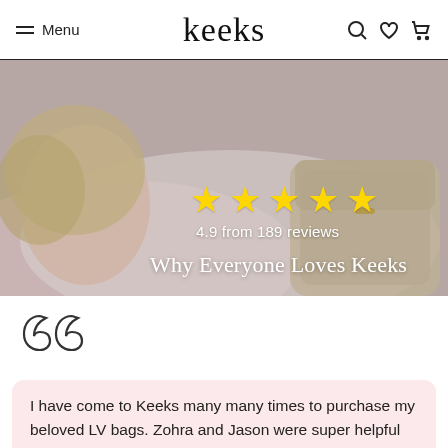Menu | keeks
[Figure (photo): Woman with blonde hair lying down, wearing a white/pink jacket, holding a beige luxury handbag. Hero banner image for Keeks luxury resale website.]
★★★★★
4.9 from 189 reviews
Why Everyone Loves Keeks
[Figure (illustration): Large decorative open quotation marks in outline style]
I have come to Keeks many many times to purchase my beloved LV bags. Zohra and Jason were super helpful and always so nice. The quality of these products are amazing and they are